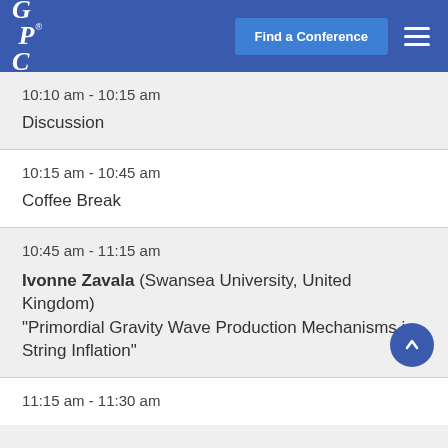GRC® | Find a Conference
10:10 am - 10:15 am
Discussion
10:15 am - 10:45 am
Coffee Break
10:45 am - 11:15 am
Ivonne Zavala (Swansea University, United Kingdom) "Primordial Gravity Wave Production Mechanisms in String Inflation"
11:15 am - 11:30 am